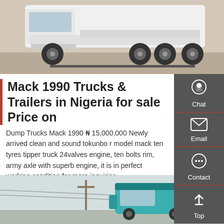[Figure (photo): Front/underside view of a white Mack truck on a concrete surface]
Mack 1990 Trucks & Trailers in Nigeria for sale Price on
Dump Trucks Mack 1990 ₦ 15,000,000 Newly arrived clean and sound tokunbo r model mack ten tyres tipper truck 24valves engine, ten bolts rim, army axle with superb engine, it is in perfect working condition,for more inquiries
Get a Quote
[Figure (photo): Side view of a teal/blue truck on a road with trees in background]